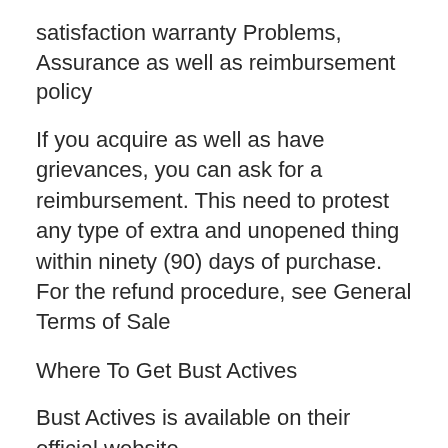satisfaction warranty Problems, Assurance as well as reimbursement policy
If you acquire as well as have grievances, you can ask for a reimbursement. This need to protest any type of extra and unopened thing within ninety (90) days of purchase. For the refund procedure, see General Terms of Sale
Where To Get Bust Actives
Bust Actives is available on their official website
Delivering Details